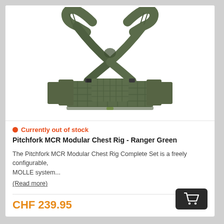[Figure (photo): Olive ranger green Pitchfork MCR Modular Chest Rig with X-harness straps and MOLLE pouches]
Currently out of stock
Pitchfork MCR Modular Chest Rig - Ranger Green
The Pitchfork MCR Modular Chest Rig Complete Set is a freely configurable, MOLLE system... [Read more]
CHF 239.95